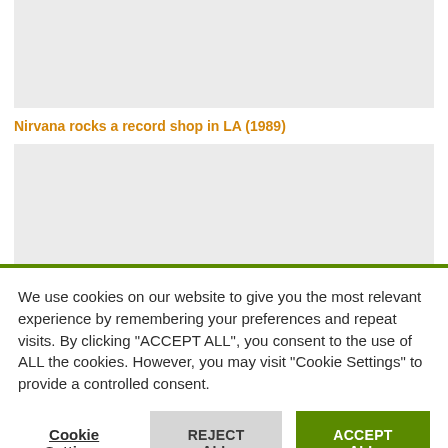[Figure (photo): Gray placeholder image block at the top of the page]
Nirvana rocks a record shop in LA (1989)
[Figure (photo): Second gray placeholder image block]
We use cookies on our website to give you the most relevant experience by remembering your preferences and repeat visits. By clicking "ACCEPT ALL", you consent to the use of ALL the cookies. However, you may visit "Cookie Settings" to provide a controlled consent.
Cookie Settings   REJECT ALL   ACCEPT ALL